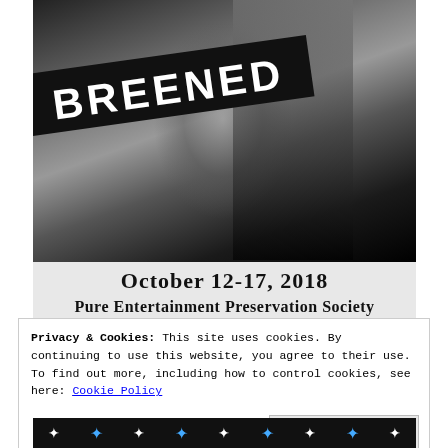[Figure (photo): Black and white photograph of a dancing couple in an embrace, with a dark diagonal banner across the image reading 'BREENED' in bold white uppercase letters.]
October 12-17, 2018
Pure Entertainment Preservation Society
Privacy & Cookies: This site uses cookies. By continuing to use this website, you agree to their use.
To find out more, including how to control cookies, see here: Cookie Policy
[Figure (other): Dark strip at the bottom with white and blue sparkle/star decorations on a black background.]